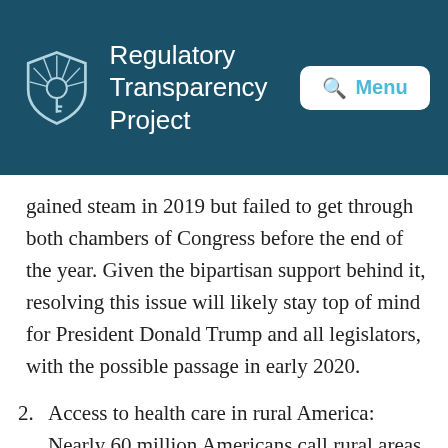Regulatory Transparency Project
gained steam in 2019 but failed to get through both chambers of Congress before the end of the year. Given the bipartisan support behind it, resolving this issue will likely stay top of mind for President Donald Trump and all legislators, with the possible passage in early 2020.
2. Access to health care in rural America: Nearly 60 million Americans call rural areas home. Yet only 10 percent of physicians practice in these areas. The expansion of telemedicine could help alleviate these access issues. Senators Elizabeth Warren and Bernie Sanders say the answer to the affordability factor is Medicare for all. But no matter who wins the